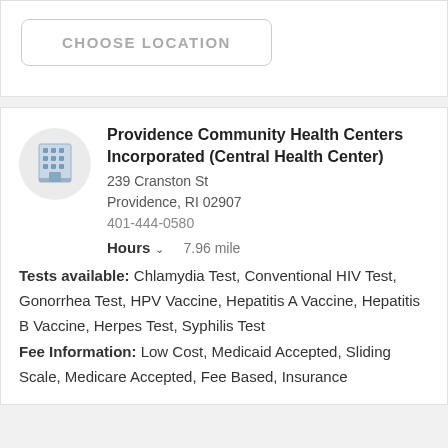CHOOSE LOCATION
Providence Community Health Centers Incorporated (Central Health Center)
239 Cranston St
Providence, RI 02907
401-444-0580
Hours  7.96 mile
Tests available: Chlamydia Test, Conventional HIV Test, Gonorrhea Test, HPV Vaccine, Hepatitis A Vaccine, Hepatitis B Vaccine, Herpes Test, Syphilis Test
Fee Information: Low Cost, Medicaid Accepted, Sliding Scale, Medicare Accepted, Fee Based, Insurance